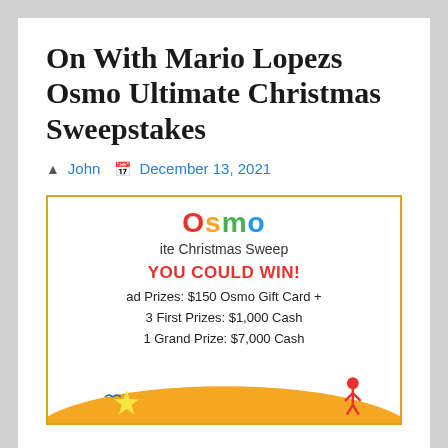On With Mario Lopezs Osmo Ultimate Christmas Sweepstakes
John  December 13, 2021
[Figure (illustration): Osmo Ultimate Christmas Sweepstakes advertisement showing the Osmo logo, text 'YOU COULD WIN!', prizes listing $150 Osmo Gift Card, 3 First Prizes: $1,000 Cash, 1 Grand Prize: $7,000 Cash, and a decorative holiday scene with characters.]
On With Mario Lopezs Osmo Ultimate Christmas